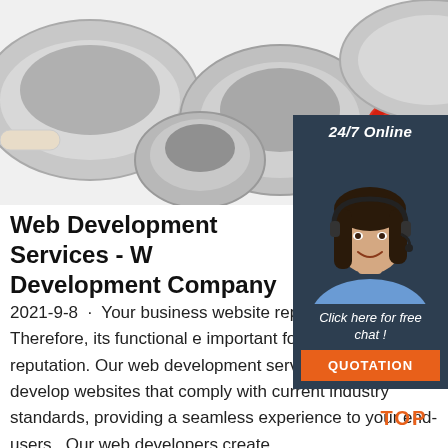[Figure (photo): Photo of stainless steel kitchen bowls and cooking utensils on a white surface, with a tomato and green pepper in the background]
[Figure (infographic): 24/7 Online chat widget with a female customer service agent wearing a headset, dark navy background, 'Click here for free chat!' text, and an orange QUOTATION button]
Web Development Services - W Development Company
2021-9-8 · Your business website rep your brand. Therefore, its functional e important for your market reputation. Our web development services helps you to develop websites that comply with current industry standards, providing a seamless experience to your end-users.. Our web developers create
[Figure (logo): Orange TOP badge/logo with arrow icon above the letters TOP]